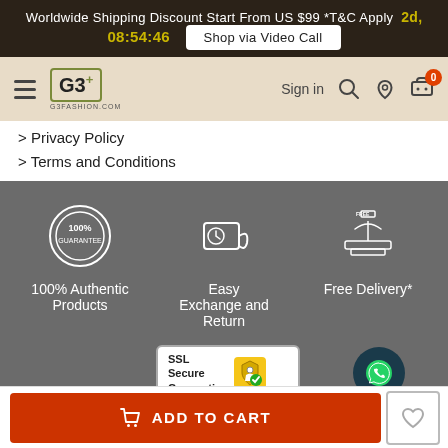Worldwide Shipping Discount Start From US $99 *T&C Apply  2d, 08:54:46  Shop via Video Call
[Figure (logo): G3+ fashion logo with hamburger menu, sign in, search, wishlist and cart icons in beige navigation bar]
> Privacy Policy
> Terms and Conditions
[Figure (infographic): Three feature icons: 100% Guarantee badge, exchange/return parcel icon, free delivery gift icon]
100% Authentic Products
Easy Exchange and Return
Free Delivery*
[Figure (logo): SSL Secure Connection badge with padlock icon]
[Figure (illustration): WhatsApp contact button (dark circular button with green WhatsApp icon)]
ADD TO CART  (wishlist heart button)